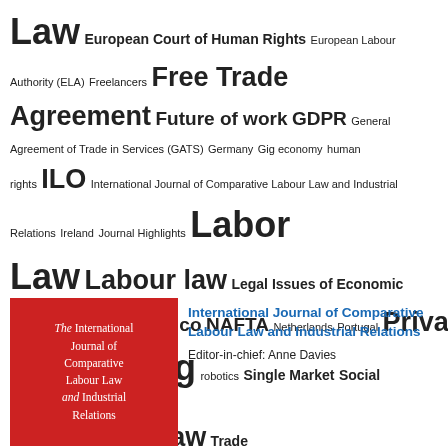[Figure (infographic): Tag cloud with legal and labour law related terms in varying font sizes. Largest terms: Law, Labor Law, Labour law, Privacy, Regulating, UK, USA, Free Trade Agreement. Medium: ILO, GDPR, NAFTA, Mexico, Trade Law, Future of work. Smaller: European Court of Human Rights, European Labour Authority (ELA), Freelancers, General Agreement of Trade in Services (GATS), Germany, Gig economy, human rights, International Journal of Comparative Labour Law and Industrial Relations, Ireland, Journal Highlights, Legal Issues of Economic Integration, Mercosur, Netherlands, Portugal, robotics, Single Market, Social Dialogue, Social Pillar, Telework, Trade Union, Treaty, WTO]
[Figure (photo): Red book cover of The International Journal of Comparative Labour Law and Industrial Relations with white text]
International Journal of Comparative Labour Law and Industrial Relations
Editor-in-chief: Anne Davies